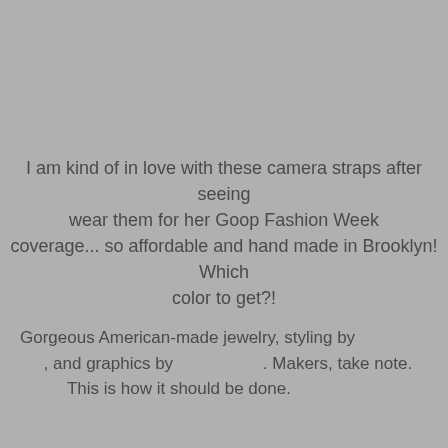I am kind of in love with these camera straps after seeing wear them for her Goop Fashion Week coverage... so affordable and hand made in Brooklyn! Which color to get?!
Gorgeous American-made jewelry, styling by , and graphics by . Makers, take note. This is how it should be done.